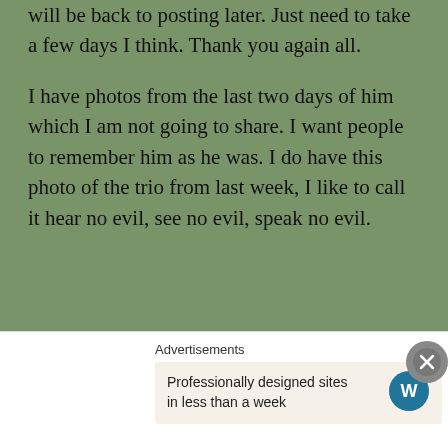will be back to posting later. Just need to take a few days I think. Thank you again all.
I have photos from the last two days of him which I am not going to share. I want people to remember him as he was. I do have this photo of the trio from last week, I like to call it hear no evil, see no evil, speak no evil.
Advertisements
[Figure (illustration): Day One app advertisement illustration: a person with a notebook journal on left and a list/document icon on right, with sparkles on a light blue background, text 'DAY ONE' at bottom]
Advertisements
Professionally designed sites in less than a week